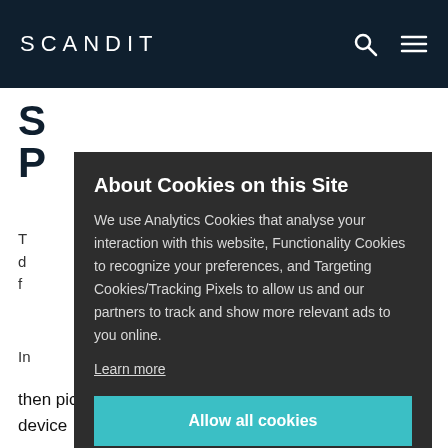SCANDIT
S... P...
T... d... f...
In...
About Cookies on this Site
We use Analytics Cookies that analyse your interaction with this website, Functionality Cookies to recognize your preferences, and Targeting Cookies/Tracking Pixels to allow us and our partners to track and show more relevant ads to you online.
Learn more
Allow all cookies
Cookie settings
Deny all
then picks and packs the items using their smart device